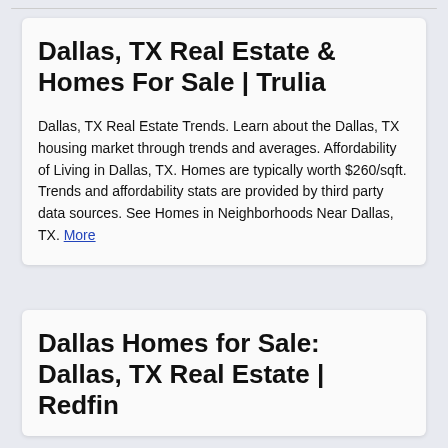Dallas, TX Real Estate & Homes For Sale | Trulia
Dallas, TX Real Estate Trends. Learn about the Dallas, TX housing market through trends and averages. Affordability of Living in Dallas, TX. Homes are typically worth $260/sqft. Trends and affordability stats are provided by third party data sources. See Homes in Neighborhoods Near Dallas, TX. More
Dallas Homes for Sale: Dallas, TX Real Estate | Redfin